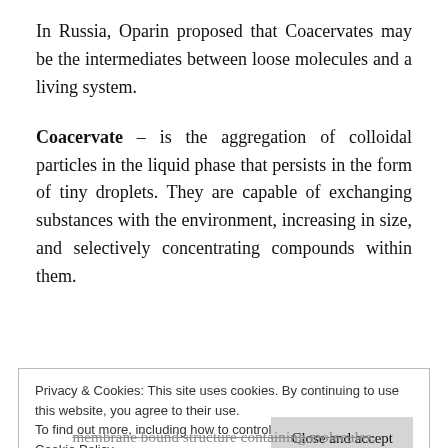In Russia, Oparin proposed that Coacervates may be the intermediates between loose molecules and a living system.
Coacervate – is the aggregation of colloidal particles in the liquid phase that persists in the form of tiny droplets. They are capable of exchanging substances with the environment, increasing in size, and selectively concentrating compounds within them.
Privacy & Cookies: This site uses cookies. By continuing to use this website, you agree to their use.
To find out more, including how to control cookies, see here: Cookie Policy
membrane bound structure containing molecules,